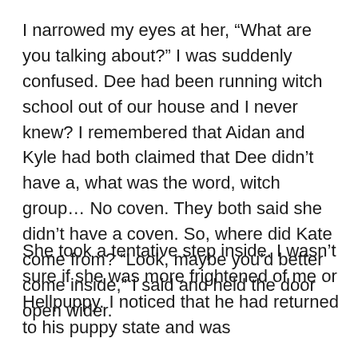I narrowed my eyes at her, “What are you talking about?” I was suddenly confused. Dee had been running witch school out of our house and I never knew? I remembered that Aidan and Kyle had both claimed that Dee didn’t have a, what was the word, witch group… No coven. They both said she didn’t have a coven. So, where did Kate come from? “Look, maybe you’d better come inside,” I said and held the door open wider.
She took a tentative step inside. I wasn’t sure if she was more frightened of me or Hellpuppy. I noticed that he had returned to his puppy state and was